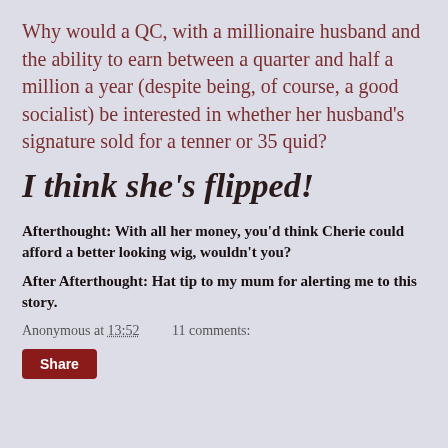Why would a QC, with a millionaire husband and the ability to earn between a quarter and half a million a year (despite being, of course, a good socialist) be interested in whether her husband's signature sold for a tenner or 35 quid?
I think she's flipped!
Afterthought: With all her money, you'd think Cherie could afford a better looking wig, wouldn't you?
After Afterthought: Hat tip to my mum for alerting me to this story.
Anonymous at 13:52    11 comments:
Share